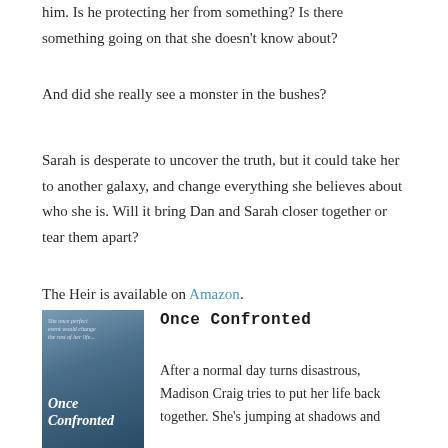him. Is he protecting her from something? Is there something going on that she doesn't know about?
And did she really see a monster in the bushes?
Sarah is desperate to uncover the truth, but it could take her to another galaxy, and change everything she believes about who she is. Will it bring Dan and Sarah closer together or tear them apart?
The Heir is available on Amazon.
[Figure (illustration): Book cover for 'Once Confronted' showing a woman looking through a rainy window, with the title text overlaid in white italic script]
Once Confronted
After a normal day turns disastrous, Madison Craig tries to put her life back together. She's jumping at shadows and